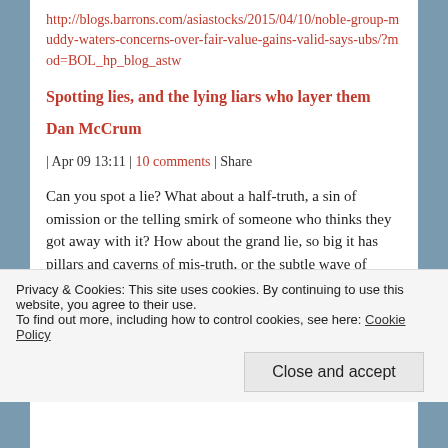http://blogs.barrons.com/asiastocks/2015/04/10/noble-group-muddy-waters-concerns-over-fair-value-gains-valid-says-ubs/?mod=BOL_hp_blog_astw
Spotting lies, and the lying liars who layer them
Dan McCrum
| Apr 09 13:11 | 10 comments | Share
Can you spot a lie? What about a half-truth, a sin of omission or the telling smirk of someone who thinks they got away with it? How about the grand lie, so big it has pillars and caverns of mis-truth, or the subtle wave of misdirection? Short sellers like
Privacy & Cookies: This site uses cookies. By continuing to use this website, you agree to their use.
To find out more, including how to control cookies, see here: Cookie Policy
Close and accept